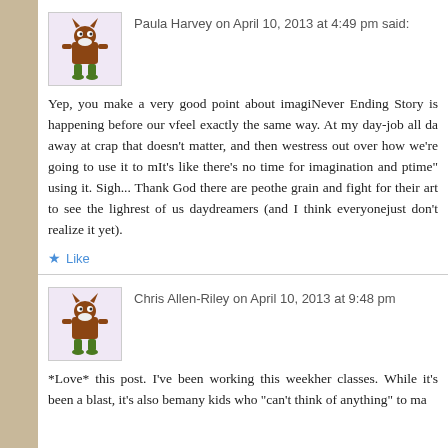Paula Harvey on April 10, 2013 at 4:49 pm said:
Yep, you make a very good point about imagi... Never Ending Story is happening before our v... feel exactly the same way. At my day-job all da... away at crap that doesn't matter, and then we... stress out over how we're going to use it to m... It's like there's no time for imagination and p... time" using it. Sigh... Thank God there are peo... the grain and fight for their art to see the ligh... rest of us daydreamers (and I think everyone ... just don't realize it yet).
Like
Chris Allen-Riley on April 10, 2013 at 9:48 pm
*Love* this post. I've been working this week... her classes. While it's been a blast, it's also be... many kids who "can't think of anything" to ma...